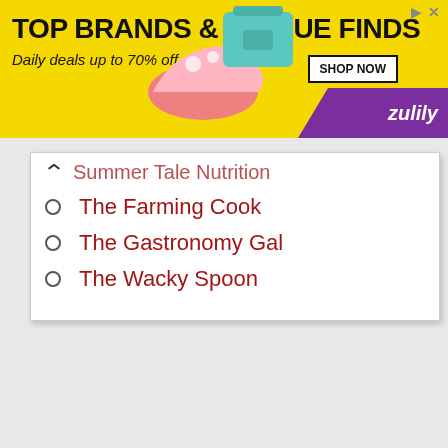[Figure (screenshot): Advertisement banner for Zulily: 'TOP BRANDS & UNIQUE FINDS, Daily deals up to 70% off' with yellow background, product images of shoes and bag, purple Zulily branding, and SHOP NOW button]
Summer Tale Nutrition (partial, cut off at top)
The Farming Cook
The Gastronomy Gal
The Wacky Spoon
[Figure (screenshot): Empty white content card with dark red top border]
[Figure (screenshot): Empty white content card with dark red top border]
[Figure (screenshot): Empty white content card with dark red top border]